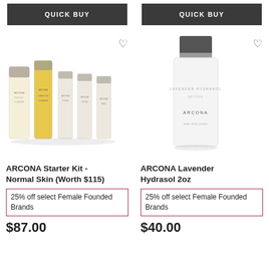QUICK BUY
QUICK BUY
[Figure (photo): ARCONA Starter Kit - Normal Skin product set with multiple bottles and tubes]
[Figure (photo): ARCONA Lavender Hydrasol 2oz white bottle with silver cap]
ARCONA Starter Kit - Normal Skin (Worth $115)
ARCONA Lavender Hydrasol 2oz
25% off select Female Founded Brands
25% off select Female Founded Brands
$87.00
$40.00